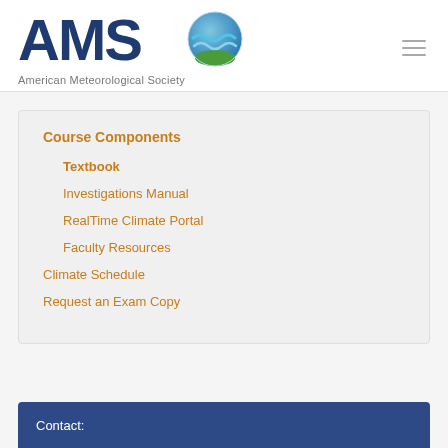[Figure (logo): AMS logo with globe icon and 'American Meteorological Society' text]
Course Components
Textbook
Investigations Manual
RealTime Climate Portal
Faculty Resources
Climate Schedule
Request an Exam Copy
Contact: